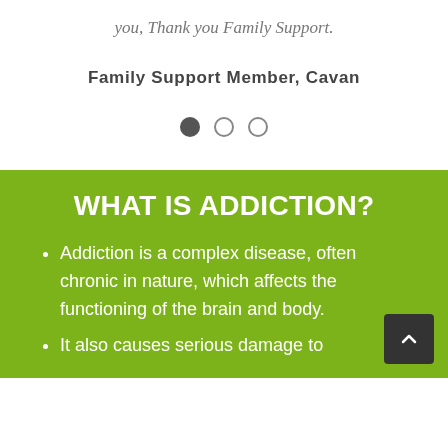you, Thank you Family Support.
Family Support Member, Cavan
[Figure (other): Carousel navigation dots: one filled dark circle and two empty circles]
WHAT IS ADDICTION?
Addiction is a complex disease, often chronic in nature, which affects the functioning of the brain and body.
It also causes serious damage to